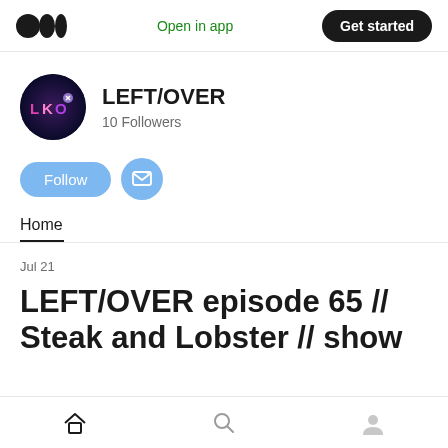Open in app | Get started
LEFT/OVER
10 Followers
Follow
Home
Jul 21
LEFT/OVER episode 65 // Steak and Lobster // show